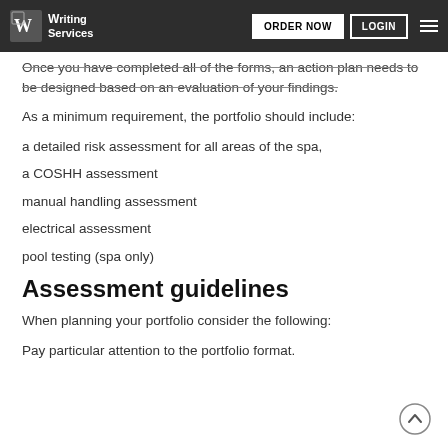Writing Services | ORDER NOW | LOGIN
Once you have completed all of the forms, an action plan needs to be designed based on an evaluation of your findings.
As a minimum requirement, the portfolio should include:
a detailed risk assessment for all areas of the spa,
a COSHH assessment
manual handling assessment
electrical assessment
pool testing (spa only)
Assessment guidelines
When planning your portfolio consider the following:
Pay particular attention to the portfolio format.